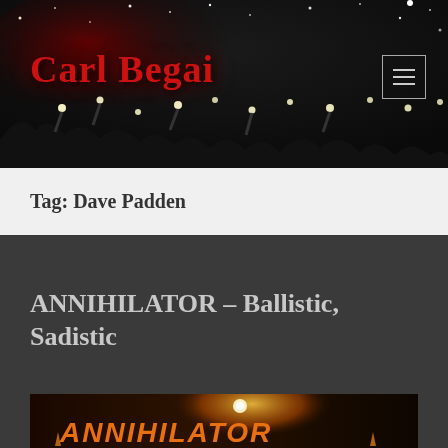[Figure (photo): Concert banner header with dark night sky, crowd holding up lights/phones, red glow behind site title. Site title 'Carl Begai' in bold red serif font on left. Hamburger menu button (three horizontal lines) in a bordered box on the right.]
Tag: Dave Padden
ANNIHILATOR – Ballistic, Sadistic
[Figure (photo): Partial album or concert image showing the ANNIHILATOR logo in orange/yellow metallic letters against a dark background with a glowing light source behind.]